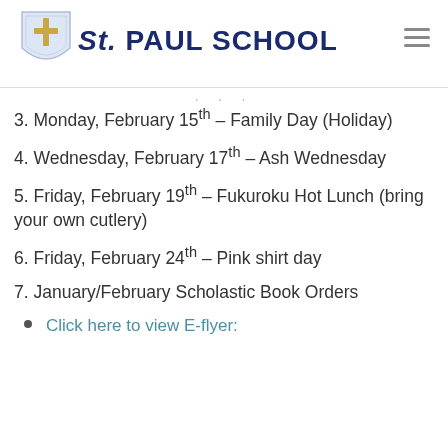St. Paul School
3. Monday, February 15th – Family Day (Holiday)
4. Wednesday, February 17th – Ash Wednesday
5. Friday, February 19th – Fukuroku Hot Lunch (bring your own cutlery)
6. Friday, February 24th – Pink shirt day
7. January/February Scholastic Book Orders
Click here to view E-flyer: